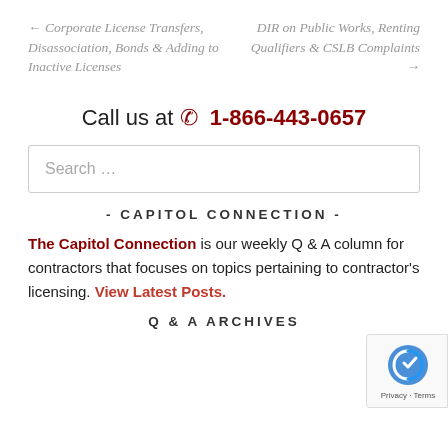← Corporate License Transfers, Disassociation, Bonds & Adding to Inactive Licenses
DIR on Public Works, Renting Qualifiers & CSLB Complaints →
Call us at ☎ 1-866-443-0657
Search …
- CAPITOL CONNECTION -
The Capitol Connection is our weekly Q & A column for contractors that focuses on topics pertaining to contractor's licensing. View Latest Posts.
Q & A ARCHIVES